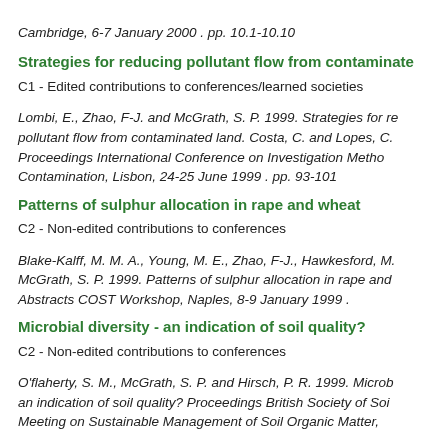Cambridge, 6-7 January 2000 . pp. 10.1-10.10
Strategies for reducing pollutant flow from contaminated
C1 - Edited contributions to conferences/learned societies
Lombi, E., Zhao, F-J. and McGrath, S. P. 1999. Strategies for reducing pollutant flow from contaminated land. Costa, C. and Lopes, C. Proceedings International Conference on Investigation Methods of Contamination, Lisbon, 24-25 June 1999 . pp. 93-101
Patterns of sulphur allocation in rape and wheat
C2 - Non-edited contributions to conferences
Blake-Kalff, M. M. A., Young, M. E., Zhao, F-J., Hawkesford, M. and McGrath, S. P. 1999. Patterns of sulphur allocation in rape and wheat. Abstracts COST Workshop, Naples, 8-9 January 1999 .
Microbial diversity - an indication of soil quality?
C2 - Non-edited contributions to conferences
O'flaherty, S. M., McGrath, S. P. and Hirsch, P. R. 1999. Microbial diversity - an indication of soil quality? Proceedings British Society of Soil Science Meeting on Sustainable Management of Soil Organic Matter,